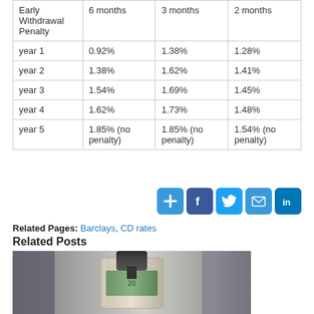|  |  |  |  |
| --- | --- | --- | --- |
| Early Withdrawal Penalty | 6 months | 3 months | 2 months |
| year 1 | 0.92% | 1.38% | 1.28% |
| year 2 | 1.38% | 1.62% | 1.41% |
| year 3 | 1.54% | 1.69% | 1.45% |
| year 4 | 1.62% | 1.73% | 1.48% |
| year 5 | 1.85% (no penalty) | 1.85% (no penalty) | 1.54% (no penalty) |
Related Pages: Barclays, CD rates
Related Posts
[Figure (photo): Photo of a mechanical press compressing a rolled US $20 bill inside a cylindrical tube, set against a blurred background.]